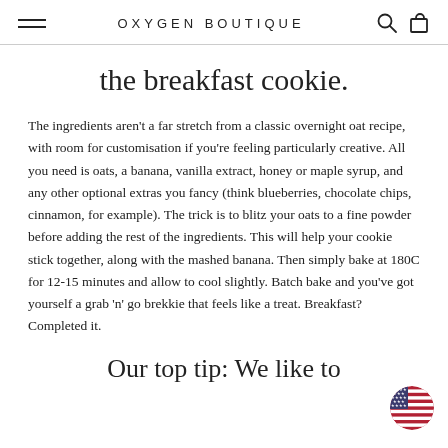OXYGEN BOUTIQUE
the breakfast cookie.
The ingredients aren't a far stretch from a classic overnight oat recipe, with room for customisation if you're feeling particularly creative. All you need is oats, a banana, vanilla extract, honey or maple syrup, and any other optional extras you fancy (think blueberries, chocolate chips, cinnamon, for example). The trick is to blitz your oats to a fine powder before adding the rest of the ingredients. This will help your cookie stick together, along with the mashed banana. Then simply bake at 180C for 12-15 minutes and allow to cool slightly. Batch bake and you've got yourself a grab 'n' go brekkie that feels like a treat. Breakfast? Completed it.
Our top tip: We like to
[Figure (illustration): US flag circle badge in bottom right corner]